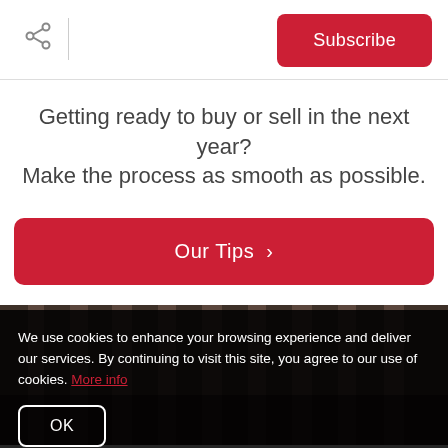Share | Subscribe
Getting ready to buy or sell in the next year? Make the process as smooth as possible.
Our Tips >
[Figure (photo): Interior room photo showing dark curtains and brown tones]
We use cookies to enhance your browsing experience and deliver our services. By continuing to visit this site, you agree to our use of cookies. More info
OK